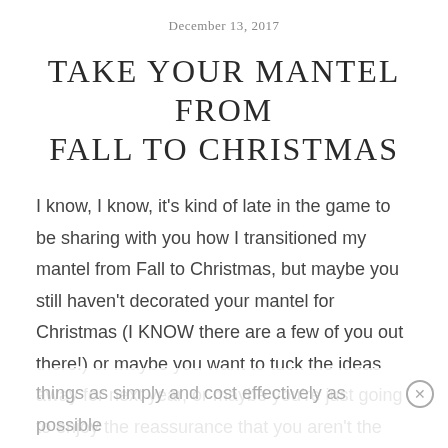December 13, 2017
TAKE YOUR MANTEL FROM FALL TO CHRISTMAS
I know, I know, it's kind of late in the game to be sharing with you how I transitioned my mantel from Fall to Christmas, but maybe you still haven't decorated your mantel for Christmas (I KNOW there are a few of you out there!) or maybe you want to tuck the ideas away for next year, or maybe you're just going to enjoy the reassurance that you aren't the only one who is trying to do things as simply and cost effectively as possible in your home.